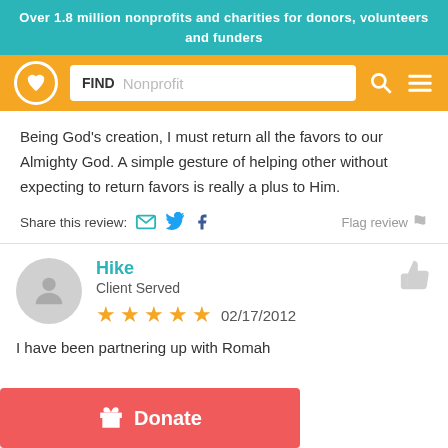Over 1.8 million nonprofits and charities for donors, volunteers and funders
[Figure (screenshot): Navigation bar with logo, search field showing FIND Nonprofit, search icon and hamburger menu on orange background]
Being God’s creation, I must return all the favors to our Almighty God. A simple gesture of helping other without expecting to return favors is really a plus to Him.
Share this review:   Flag review
Hike
Client Served
★★★★★ 02/17/2012
I have been partnering up with Romah